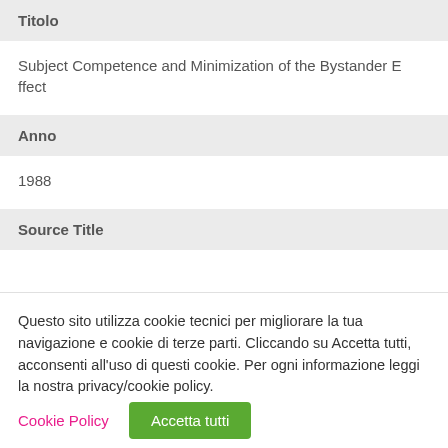Titolo
Subject Competence and Minimization of the Bystander Effect
Anno
1988
Source Title
Questo sito utilizza cookie tecnici per migliorare la tua navigazione e cookie di terze parti. Cliccando su Accetta tutti, acconsenti all'uso di questi cookie. Per ogni informazione leggi la nostra privacy/cookie policy.
Cookie Policy | Accetta tutti